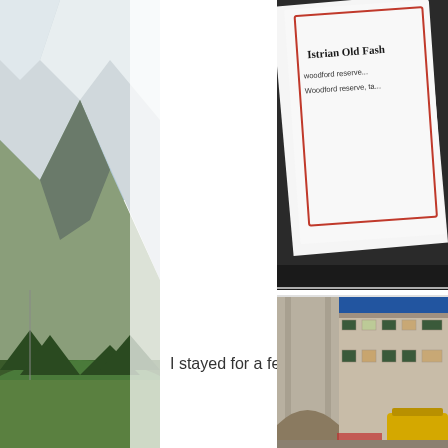[Figure (photo): Partial view of a snow-capped mountain with green valley below, cropped on the left edge of the page]
[Figure (photo): Close-up of a menu or card with text 'Istrian Old Fashi...' and 'woodford reserve...' with a red border, partially visible]
I stayed for a few rounds!
[Figure (photo): Evening view of a historic stone building courtyard (appears to be Dubrovnik), with a yellow container in the foreground and blue twilight sky]